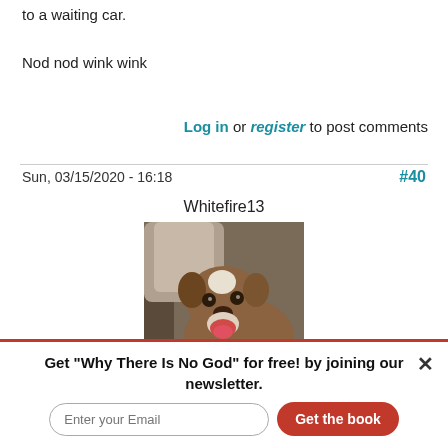to a waiting car.
Nod nod wink wink
Log in or register to post comments
Sun, 03/15/2020 - 16:18
#40
Whitefire13
[Figure (photo): A brown French Bulldog or similar breed lying on a green cushion, looking at the camera with mouth open, white marking on face, with a light-colored blanket in background.]
Get "Why There Is No God" for free! by joining our newsletter.